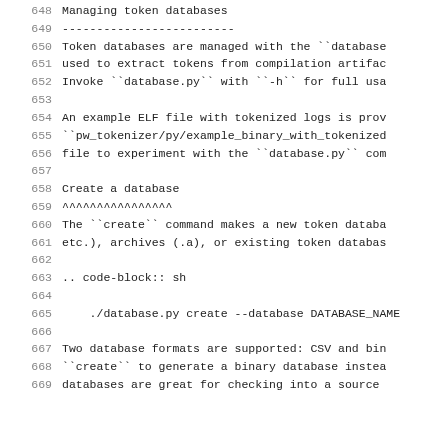648   Managing token databases
649   -------------------------
650   Token databases are managed with the ``database
651   used to extract tokens from compilation artifac
652   Invoke ``database.py`` with ``-h`` for full usa
653
654   An example ELF file with tokenized logs is prov
655   ``pw_tokenizer/py/example_binary_with_tokenized
656   file to experiment with the ``database.py`` com
657
658   Create a database
659   ^^^^^^^^^^^^^^^^
660   The ``create`` command makes a new token databa
661   etc.), archives (.a), or existing token databas
662
663   .. code-block:: sh
664
665       ./database.py create --database DATABASE_NAME
666
667   Two database formats are supported: CSV and bin
668   ``create`` to generate a binary database instea
669   databases are great for checking into a source